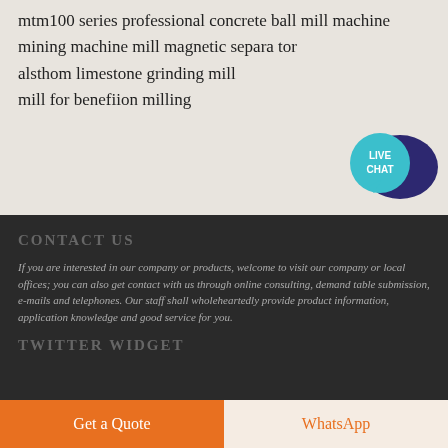mtm100 series professional concrete ball mill machine
mining machine mill magnetic separa tor
alsthom limestone grinding mill
mill for benefiion milling
[Figure (illustration): Live Chat speech bubble icon with teal/dark blue colors and white text reading LIVE CHAT]
CONTACT US
If you are interested in our company or products, welcome to visit our company or local offices; you can also get contact with us through online consulting, demand table submission, e-mails and telephones. Our staff shall wholeheartedly provide product information, application knowledge and good service for you.
TWITTER WIDGET